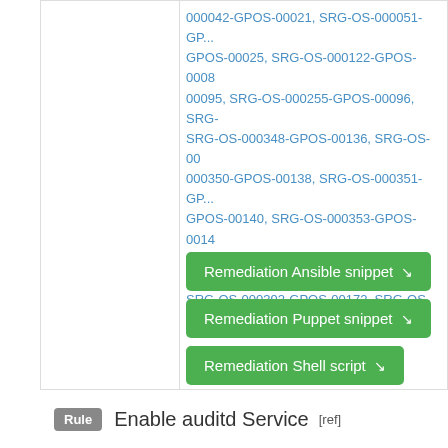000042-GPOS-00021, SRG-OS-000051-GPOS-00025, SRG-OS-000122-GPOS-00095, SRG-OS-000255-GPOS-00096, SRG-OS-000348-GPOS-00136, SRG-OS-000350-GPOS-00138, SRG-OS-000351-GPOS-00140, SRG-OS-000353-GPOS-00142, SRG-OS-000358-GPOS-00145, SRG-OS-000392-GPOS-00172, SRG-OS-00...
Remediation Ansible snippet ↘
Remediation Puppet snippet ↘
Remediation Shell script ↘
Remediation OSBuild Blueprint snippet ↘
Rule   Enable auditd Service   [ref]